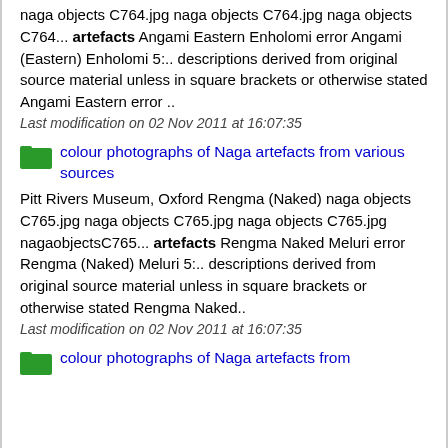naga objects C764.jpg naga objects C764.jpg naga objects C764... artefacts Angami Eastern Enholomi error Angami (Eastern) Enholomi 5:.. descriptions derived from original source material unless in square brackets or otherwise stated Angami Eastern error ..
Last modification on 02 Nov 2011 at 16:07:35
colour photographs of Naga artefacts from various sources
Pitt Rivers Museum, Oxford Rengma (Naked) naga objects C765.jpg naga objects C765.jpg naga objects C765.jpg nagaobjectsC765... artefacts Rengma Naked Meluri error Rengma (Naked) Meluri 5:.. descriptions derived from original source material unless in square brackets or otherwise stated Rengma Naked..
Last modification on 02 Nov 2011 at 16:07:35
colour photographs of Naga artefacts from